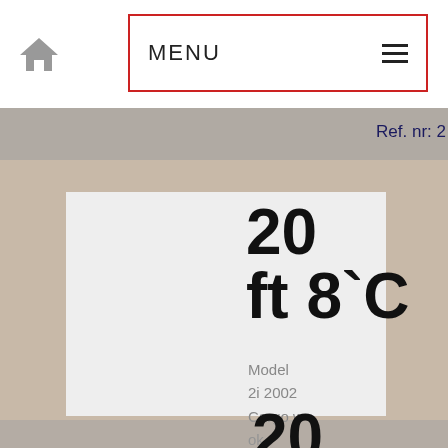MENU
Ref. nr: 2
20 ft 8`C
Model 2i 2002 Cargo w ok Locatio
Ref. nr: 2
20